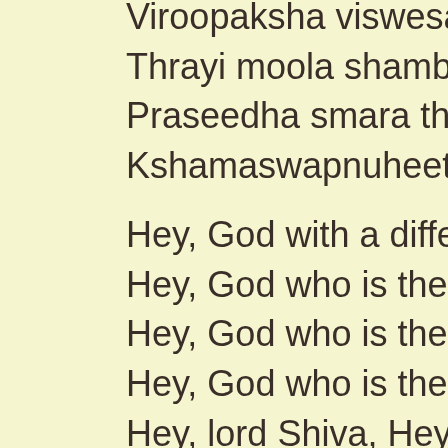Viroopaksha viswesa vi...
Thrayi moola shambho s...
Praseedha smara thrahi...
Kshamaswapnuheethi k...
Hey, God with a differen...
Hey, God who is the lord...
Hey, God who is the Go...
Hey, God who is the cau...
Hey, lord Shiva, Hey, lor...
I have few requests to y...
Be pleased with me, rem...
See me with your three ...
Pardon all my mistakes ...
Thwadanya saranya pra...
Praseedha smaran neva...
Na chethe bhaved bhak...
Sthatho may dayalo day...
There is none who is m...